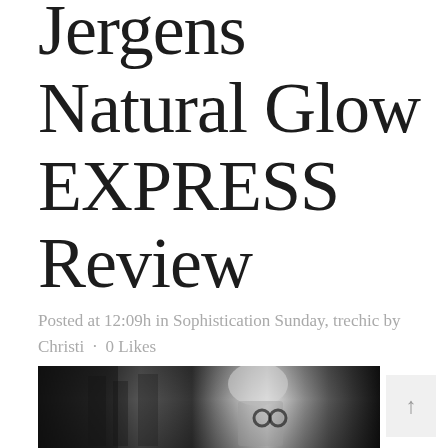Jergens Natural Glow EXPRESS Review
Posted at 12:09h in Sophistication Sunday, trechic by Christi · 0 Likes
[Figure (photo): Black and white photo of a woman with an upswept hairstyle and sunglasses, in a classic Breakfast at Tiffany's style pose, with buildings in the background]